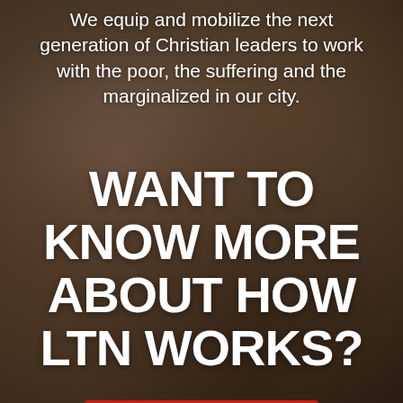We equip and mobilize the next generation of Christian leaders to work with the poor, the suffering and the marginalized in our city.
WANT TO KNOW MORE ABOUT HOW LTN WORKS?
LEARN MORE